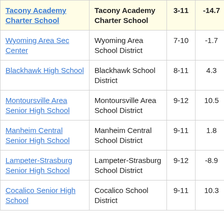| School | District | Grades | Change |  |
| --- | --- | --- | --- | --- |
| Tacony Academy Charter School | Tacony Academy Charter School | 3-11 | -14.7 | 3 |
| Wyoming Area Sec Center | Wyoming Area School District | 7-10 | -1.7 |  |
| Blackhawk High School | Blackhawk School District | 8-11 | 4.3 |  |
| Montoursville Area Senior High School | Montoursville Area School District | 9-12 | 10.5 |  |
| Manheim Central Senior High School | Manheim Central School District | 9-11 | 1.8 |  |
| Lampeter-Strasburg Senior High School | Lampeter-Strasburg School District | 9-12 | -8.9 |  |
| Cocalico Senior High School | Cocalico School District | 9-11 | 10.3 |  |